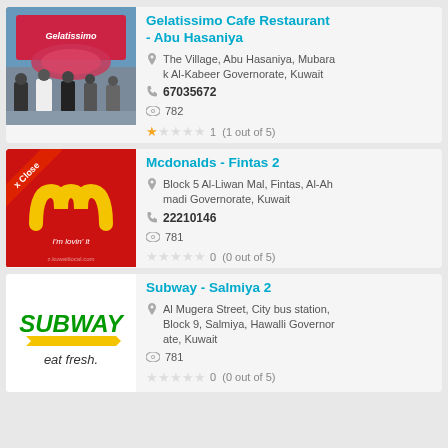[Figure (photo): Gelatissimo Cafe Restaurant storefront photo with people standing in front]
Gelatissimo Cafe Restaurant - Abu Hasaniya
The Village, Abu Hasaniya, Mubarak Al-Kabeer Governorate, Kuwait
67035672
782
1  (1 out of 5)
[Figure (logo): McDonald's logo on red background with 'I'm lovin' it' text and kuwaitlocal.com watermark, with X Close ribbon]
Mcdonalds - Fintas 2
Block 5 Al-Liwan Mal, Fintas, Al-Ahmadi Governorate, Kuwait
22210146
781
0  (0 out of 5)
[Figure (logo): Subway logo with 'eat fresh.' tagline on white background]
Subway - Salmiya 2
Al Mugera Street, City bus station, Block 9, Salmiya, Hawalli Governorate, Kuwait
781
0  (0 out of 5)